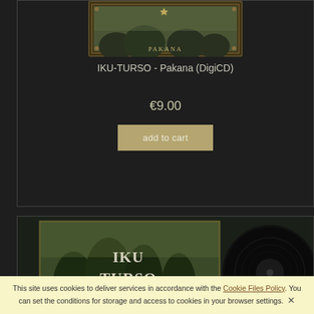[Figure (photo): Album cover for IKU-TURSO Pakana DigiCD showing a dark forest/nature scene with ornate border and the text PAKANA]
IKU-TURSO - Pakana (DigiCD)
€9.00
add to cart
[Figure (photo): Album cover and vinyl record for IKU-TURSO showing dark forest artwork with band name in metal typography]
This site uses cookies to deliver services in accordance with the Cookie Files Policy. You can set the conditions for storage and access to cookies in your browser settings. ✕